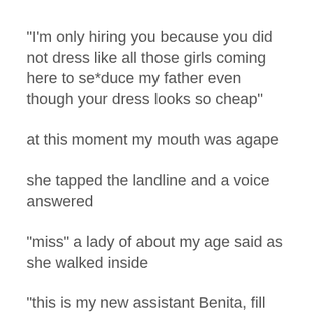“I’m only hiring you because you did not dress like all those girls coming here to se*duce my father even though your dress looks so cheap”
at this moment my mouth was agape
she tapped the landline and a voice answered
“miss” a lady of about my age said as she walked inside
“this is my new assistant Benita, fill her in on the necessary and her office”
“yes miss”the lady replied